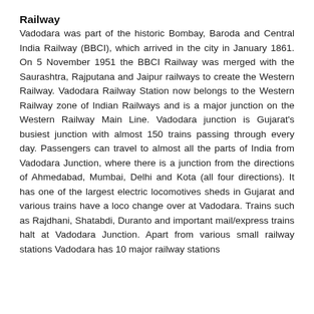Railway
Vadodara was part of the historic Bombay, Baroda and Central India Railway (BBCI), which arrived in the city in January 1861. On 5 November 1951 the BBCI Railway was merged with the Saurashtra, Rajputana and Jaipur railways to create the Western Railway. Vadodara Railway Station now belongs to the Western Railway zone of Indian Railways and is a major junction on the Western Railway Main Line. Vadodara junction is Gujarat's busiest junction with almost 150 trains passing through every day. Passengers can travel to almost all the parts of India from Vadodara Junction, where there is a junction from the directions of Ahmedabad, Mumbai, Delhi and Kota (all four directions). It has one of the largest electric locomotives sheds in Gujarat and various trains have a loco change over at Vadodara. Trains such as Rajdhani, Shatabdi, Duranto and important mail/express trains halt at Vadodara Junction. Apart from various small railway stations Vadodara has 10 major railway stations